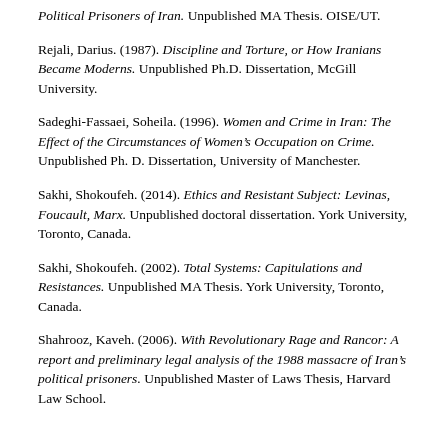Political Prisoners of Iran. Unpublished MA Thesis. OISE/UT.
Rejali, Darius. (1987). Discipline and Torture, or How Iranians Became Moderns. Unpublished Ph.D. Dissertation, McGill University.
Sadeghi-Fassaei, Soheila. (1996). Women and Crime in Iran: The Effect of the Circumstances of Women's Occupation on Crime. Unpublished Ph.D. Dissertation, University of Manchester.
Sakhi, Shokoufeh. (2014). Ethics and Resistant Subject: Levinas, Foucault, Marx. Unpublished doctoral dissertation. York University, Toronto, Canada.
Sakhi, Shokoufeh. (2002). Total Systems: Capitulations and Resistances. Unpublished MA Thesis. York University, Toronto, Canada.
Shahrooz, Kaveh. (2006). With Revolutionary Rage and Rancor: A report and preliminary legal analysis of the 1988 massacre of Iran's political prisoners. Unpublished Master of Laws Thesis, Harvard Law School.